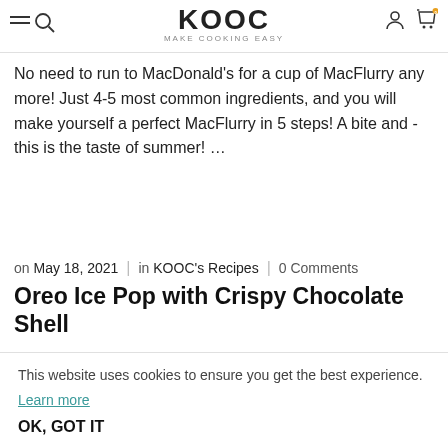KOOC MAKE COOKING EASY
No need to run to MacDonald's for a cup of MacFlurry any more! Just 4-5 most common ingredients, and you will make yourself a perfect MacFlurry in 5 steps! A bite and - this is the taste of summer! …
on May 18, 2021 | in KOOC's Recipes | 0 Comments
Oreo Ice Pop with Crispy Chocolate Shell
A bite on this ice pop is heaven - feel the crispy chocolate shell, icy yogurt with crunchy crumbled Oreo. Super easy to make!
This website uses cookies to ensure you get the best experience. Learn more OK, GOT IT